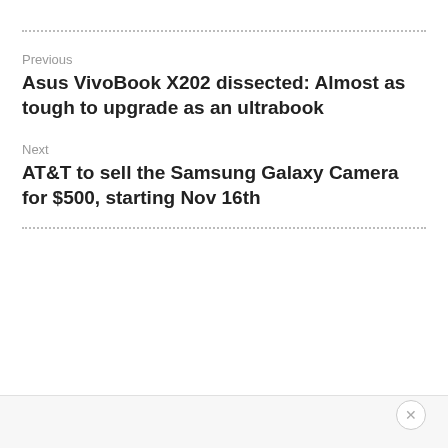Previous
Asus VivoBook X202 dissected: Almost as tough to upgrade as an ultrabook
Next
AT&T to sell the Samsung Galaxy Camera for $500, starting Nov 16th